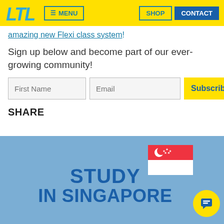LTL | MENU | SHOP | CONTACT
amazing new Flexi class system!
Sign up below and become part of our ever-growing community!
[Figure (screenshot): Newsletter signup form with First Name and Email fields and a Subscribe button]
SHARE
[Figure (illustration): Study in Singapore promotional banner with Singapore flag and blue background text reading STUDY IN SINGAPORE]